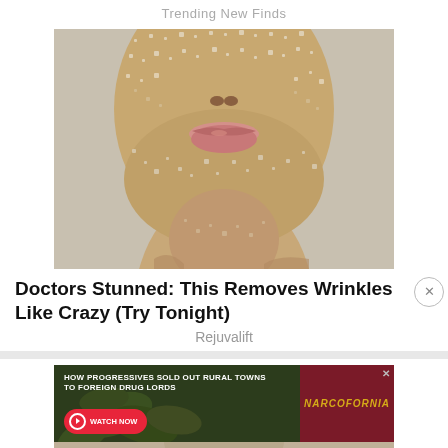Trending New Finds
[Figure (photo): Close-up photo of a person's lower face and neck covered in sugar or salt crystals/exfoliant, with prominent lips visible against a grey background.]
Doctors Stunned: This Removes Wrinkles Like Crazy (Try Tonight)
Rejuvalift
[Figure (other): Advertisement banner for Narcofornia documentary. Dark green background with marijuana leaves imagery. Text reads: HOW PROGRESSIVES SOLD OUT RURAL TOWNS TO FOREIGN DRUG LORDS. Red button: WATCH NOW. Logo: NARCOFORNIA in gold on dark red background.]